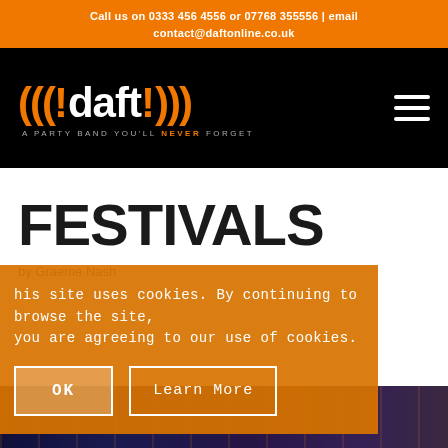Call us on 0333 456 4556 or 07768 355556 | email contact@daftonline.co.uk
[Figure (logo): !daft! logo with orange parentheses and radio wave symbols, tagline: A PARTY BAND YOU'LL NEVER FORGET]
FESTIVALS
by Graeme Nash
his site uses cookies. By continuing to browse the site, you are agreeing to our use of cookies.
[Figure (photo): Dark concert/festival photo strip at the bottom of the page with blue and purple lighting]